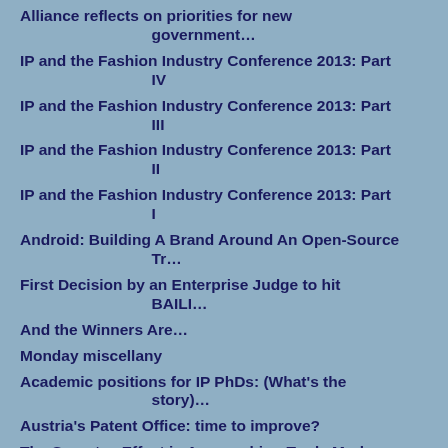Alliance reflects on priorities for new government…
IP and the Fashion Industry Conference 2013: Part IV
IP and the Fashion Industry Conference 2013: Part III
IP and the Fashion Industry Conference 2013: Part II
IP and the Fashion Industry Conference 2013: Part I
Android: Building A Brand Around An Open-Source Tr…
First Decision by an Enterprise Judge to hit BAILI…
And the Winners Are…
Monday miscellany
Academic positions for IP PhDs: (What's the story)…
Austria's Patent Office: time to improve?
The Socrates Effect in Approaching Trade Mark